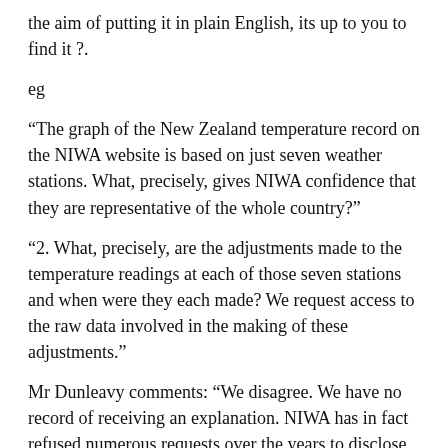the aim of putting it in plain English, its up to you to find it ?.
eg
“The graph of the New Zealand temperature record on the NIWA website is based on just seven weather stations. What, precisely, gives NIWA confidence that they are representative of the whole country?”
“2. What, precisely, are the adjustments made to the temperature readings at each of those seven stations and when were they each made? We request access to the raw data involved in the making of these adjustments.”
Mr Dunleavy comments: “We disagree. We have no record of receiving an explanation. NIWA has in fact refused numerous requests over the years to disclose the corrections. The most recent one was a written request to Dr James Renwick – over a month ago – still unanswered www.scoop.co.nz/stories/SC0911/S00057.htm
Of course the AGW people want the change the way “everybody else works” , but hey they want just stick to their research without these pesky FOI/OIA